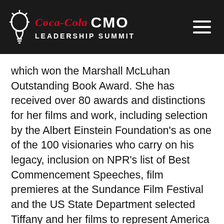Coca-Cola CMO Leadership Summit
which won the Marshall McLuhan Outstanding Book Award. She has received over 80 awards and distinctions for her films and work, including selection by the Albert Einstein Foundation's as one of the 100 visionaries who carry on his legacy, inclusion on NPR's list of Best Commencement Speeches, film premieres at the Sundance Film Festival and the US State Department selected Tiffany and her films to represent America at embassies around the world.
Working across film, animation, video and performance, her new visual artwork recontextualizes images, sculpture, photography and collage to see new insights about perspective, scale, humans, nature and time. Tiffany is the Artist-in-Residence for 2022